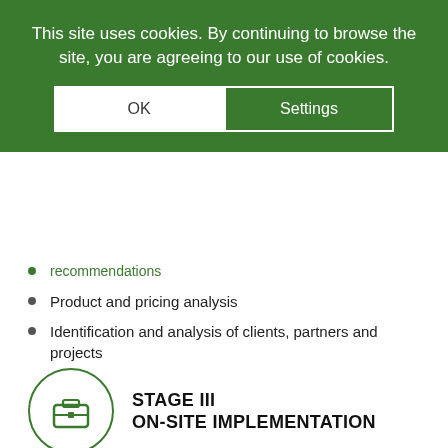This site uses cookies. By continuing to browse the site, you are agreeing to our use of cookies.
recommendations
Product and pricing analysis
Identification and analysis of clients, partners and projects
STAGE III ON-SITE IMPLEMENTATION
Business trips with clients
Local project management
HR management
Business development
Relocation hiring